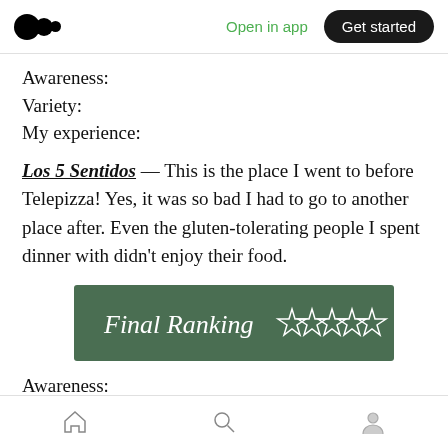Open in app | Get started
Awareness:
Variety:
My experience:
Los 5 Sentidos — This is the place I went to before Telepizza! Yes, it was so bad I had to go to another place after. Even the gluten-tolerating people I spent dinner with didn't enjoy their food.
[Figure (other): Green banner with cursive text reading 'Final Ranking' followed by five empty star icons]
Awareness: